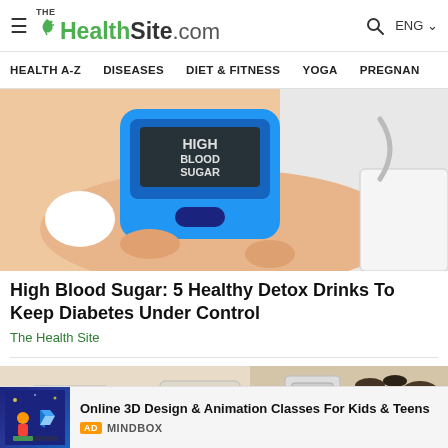TheHealthSite.com | HEALTH A-Z | DISEASES | DIET & FITNESS | YOGA | PREGNAN
[Figure (photo): Person holding a blue blood glucose meter displaying 'HIGH BLOOD SUGAR' reading, on a white background with medical equipment]
High Blood Sugar: 5 Healthy Detox Drinks To Keep Diabetes Under Control
The Health Site
[Figure (photo): Wall with electrical outlets/sockets and dark mold growth spreading across the wall surface]
Online 3D Design & Animation Classes For Kids & Teens
AD MINDBOX